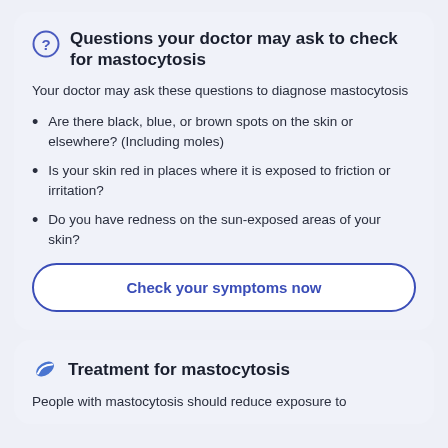Questions your doctor may ask to check for mastocytosis
Your doctor may ask these questions to diagnose mastocytosis
Are there black, blue, or brown spots on the skin or elsewhere? (Including moles)
Is your skin red in places where it is exposed to friction or irritation?
Do you have redness on the sun-exposed areas of your skin?
Check your symptoms now
Treatment for mastocytosis
People with mastocytosis should reduce exposure to